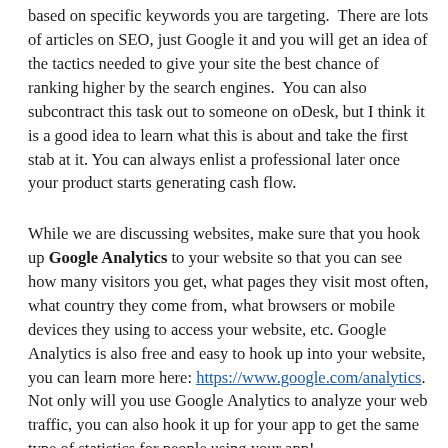based on specific keywords you are targeting.  There are lots of articles on SEO, just Google it and you will get an idea of the tactics needed to give your site the best chance of ranking higher by the search engines.  You can also subcontract this task out to someone on oDesk, but I think it is a good idea to learn what this is about and take the first stab at it. You can always enlist a professional later once your product starts generating cash flow.
While we are discussing websites, make sure that you hook up Google Analytics to your website so that you can see how many visitors you get, what pages they visit most often, what country they come from, what browsers or mobile devices they using to access your website, etc. Google Analytics is also free and easy to hook up into your website, you can learn more here: https://www.google.com/analytics.  Not only will you use Google Analytics to analyze your web traffic, you can also hook it up for your app to get the same type of statistics for people using your app!